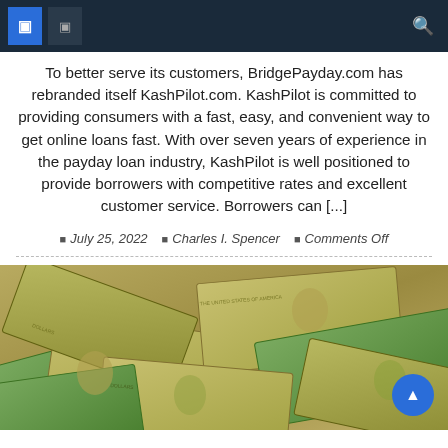To better serve its customers, BridgePayday.com has rebranded itself KashPilot.com. KashPilot is committed to providing consumers with a fast, easy, and convenient way to get online loans fast. With over seven years of experience in the payday loan industry, KashPilot is well positioned to provide borrowers with competitive rates and excellent customer service. Borrowers can [...]
July 25, 2022   Charles I. Spencer   Comments Off
[Figure (photo): A pile of US dollar bills scattered and overlapping each other, showing various denominations including $1, $5, $10, and $20 bills]